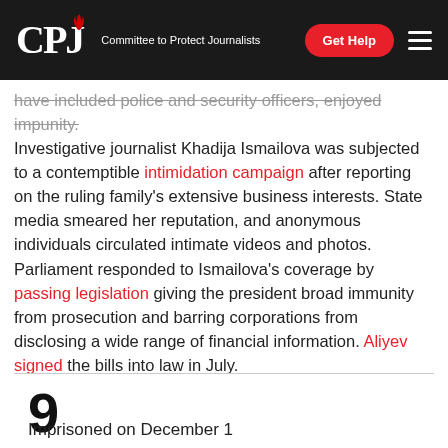CPJ — Committee to Protect Journalists | Get Help
have included police and security officers, enjoyed impunity. Investigative journalist Khadija Ismailova was subjected to a contemptible intimidation campaign after reporting on the ruling family's extensive business interests. State media smeared her reputation, and anonymous individuals circulated intimate videos and photos. Parliament responded to Ismailova's coverage by passing legislation giving the president broad immunity from prosecution and barring corporations from disclosing a wide range of financial information. Aliyev signed the bills into law in July.
9
Imprisoned on December 1